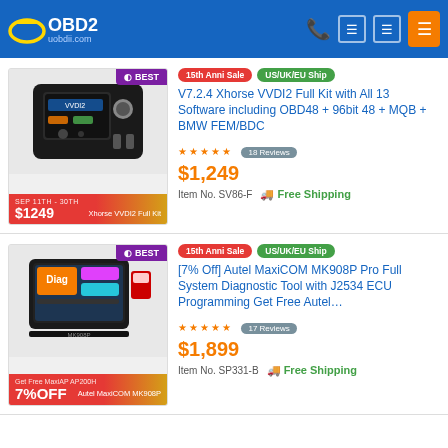VOBD2 uobdii.com
[Figure (photo): Xhorse VVDI2 Full Kit product image with BEST badge and promotional price bar showing $1249]
15th Anni Sale  US/UK/EU Ship  V7.2.4 Xhorse VVDI2 Full Kit with All 13 Software including OBD48 + 96bit 48 + MQB + BMW FEM/BDC
18 Reviews
$1,249
Item No. SV86-F   Free Shipping
[Figure (photo): Autel MaxiCOM MK908P Pro product image with BEST badge and 7%OFF promotional bar]
15th Anni Sale  US/UK/EU Ship  [7% Off] Autel MaxiCOM MK908P Pro Full System Diagnostic Tool with J2534 ECU Programming Get Free Autel…
17 Reviews
$1,899
Item No. SP331-B   Free Shipping